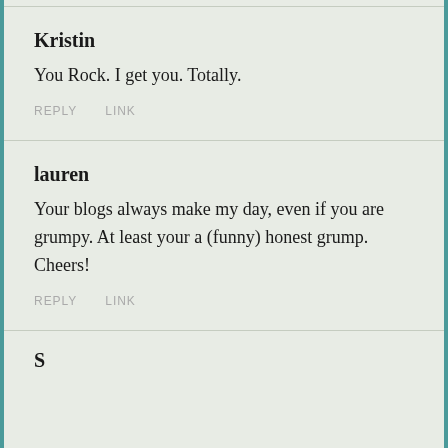Kristin
You Rock. I get you. Totally.
REPLY   LINK
lauren
Your blogs always make my day, even if you are grumpy. At least your a (funny) honest grump. Cheers!
REPLY   LINK
S...